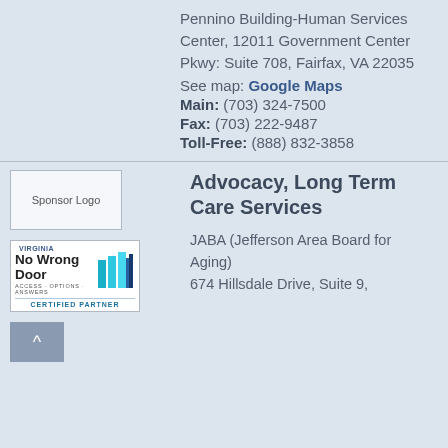Pennino Building-Human Services Center, 12011 Government Center Pkwy: Suite 708, Fairfax, VA 22035
See map: Google Maps
Main: (703) 324-7500
Fax: (703) 222-9487
Toll-Free: (888) 832-3858
[Figure (logo): Sponsor Logo placeholder image]
[Figure (logo): Virginia No Wrong Door Certified Partner logo]
[Figure (other): Back to top button with upward arrow]
Advocacy, Long Term Care Services
JABA (Jefferson Area Board for Aging)
674 Hillsdale Drive, Suite 9,